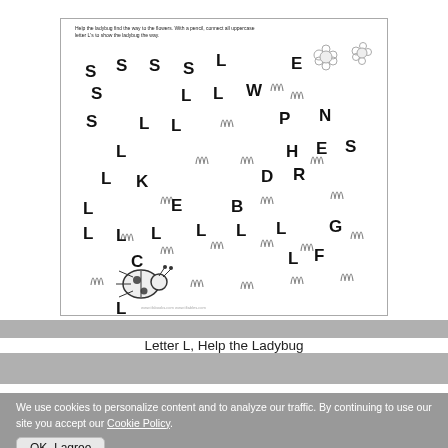[Figure (illustration): Letter L Help the Ladybug worksheet — a maze-like activity with uppercase and lowercase letters scattered across an illustrated outdoor scene with grass, flowers, and a ladybug at the bottom. Kids connect all uppercase letter L's to help the ladybug find the way to the flowers.]
Letter L, Help the Ladybug
Book: The Grouchy Ladybug
We use cookies to personalize content and to analyze our traffic. By continuing to use our site you accept our Cookie Policy.